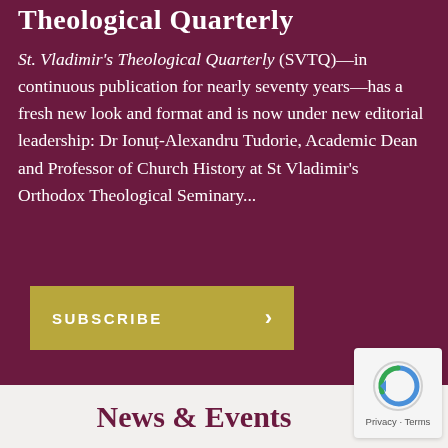Theological Quarterly
St. Vladimir's Theological Quarterly (SVTQ)—in continuous publication for nearly seventy years—has a fresh new look and format and is now under new editorial leadership: Dr Ionuț-Alexandru Tudorie, Academic Dean and Professor of Church History at St Vladimir's Orthodox Theological Seminary...
SUBSCRIBE ›
News & Events